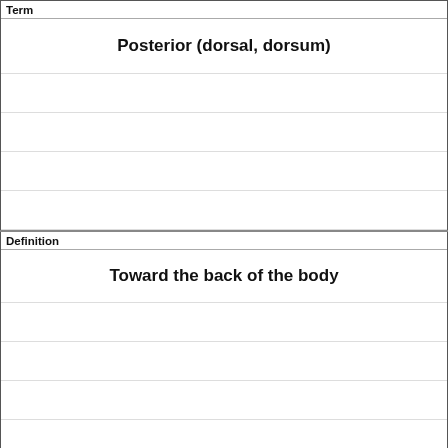| Term |
| --- |
| Posterior (dorsal, dorsum) |
|  |
|  |
|  |
|  |
|  |
|  |
| Definition |
| --- |
| Toward the back of the body |
|  |
|  |
|  |
|  |
|  |
|  |
|  |